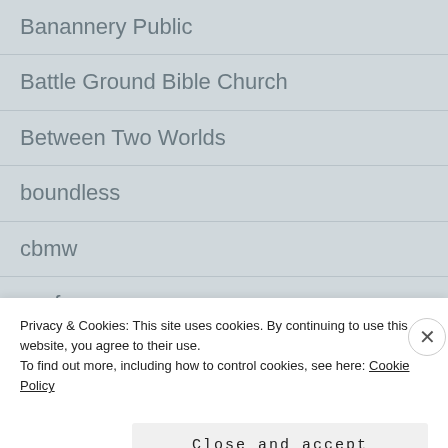Banannery Public
Battle Ground Bible Church
Between Two Worlds
boundless
cbmw
ccef
challies
Privacy & Cookies: This site uses cookies. By continuing to use this website, you agree to their use.
To find out more, including how to control cookies, see here: Cookie Policy
Close and accept